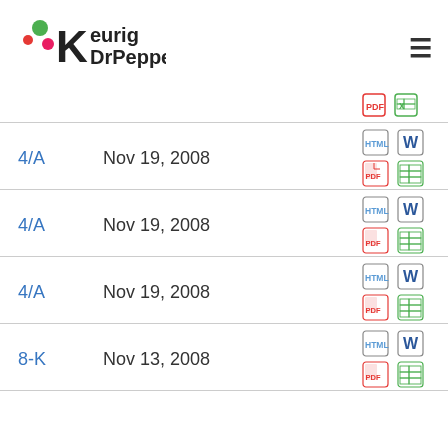Keurig Dr Pepper - SEC Filings
| Form | Date | Documents |
| --- | --- | --- |
| 4/A | Nov 19, 2008 | HTML, Word, PDF, Excel |
| 4/A | Nov 19, 2008 | HTML, Word, PDF, Excel |
| 4/A | Nov 19, 2008 | HTML, Word, PDF, Excel |
| 8-K | Nov 13, 2008 | HTML, Word, PDF, Excel |